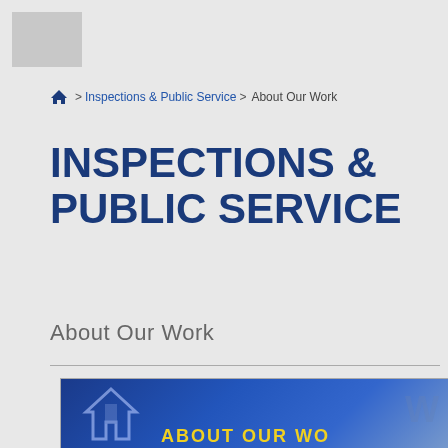[Figure (logo): Gray placeholder logo box in top left corner]
Home > Inspections & Public Service > About Our Work
INSPECTIONS & PUBLIC SERVICE
About Our Work
[Figure (photo): Blue banner image with house/building icon and text 'ABOUT OUR WO...' in yellow letters, partially cropped]